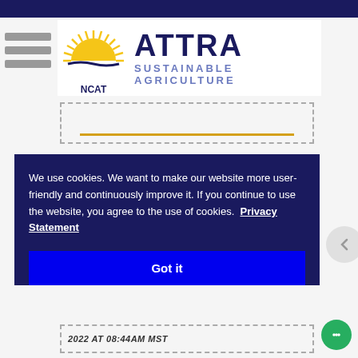ATTRA Sustainable Agriculture — NCAT
[Figure (logo): NCAT ATTRA Sustainable Agriculture logo with sun graphic]
[Figure (screenshot): Search input box with yellow underline on light gray background]
We use cookies. We want to make our website more user-friendly and continuously improve it. If you continue to use the website, you agree to the use of cookies.  Privacy Statement
Got it
2022 AT 08:44AM MST